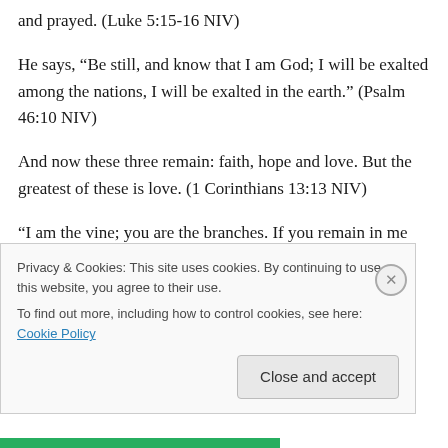and prayed. (Luke 5:15-16 NIV)
He says, “Be still, and know that I am God; I will be exalted among the nations, I will be exalted in the earth.” (Psalm 46:10 NIV)
And now these three remain: faith, hope and love. But the greatest of these is love. (1 Corinthians 13:13 NIV)
“I am the vine; you are the branches. If you remain in me and I in you, you will bear much fruit; apart from me you can do nothing… If you remain in me and my words
Privacy & Cookies: This site uses cookies. By continuing to use this website, you agree to their use.
To find out more, including how to control cookies, see here: Cookie Policy
Close and accept